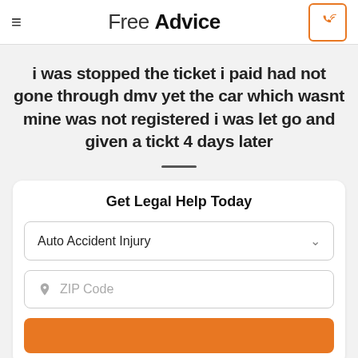Free Advice
i was stopped the ticket i paid had not gone through dmv yet the car which wasnt mine was not registered i was let go and given a tickt 4 days later
Get Legal Help Today
Auto Accident Injury
ZIP Code